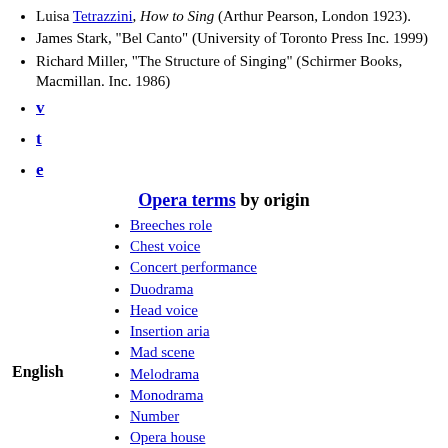Luisa Tetrazzini, How to Sing (Arthur Pearson, London 1923).
James Stark, "Bel Canto" (University of Toronto Press Inc. 1999)
Richard Miller, "The Structure of Singing" (Schirmer Books, Macmillan. Inc. 1986)
v
t
e
Opera terms by origin
Breeches role
Chest voice
Concert performance
Duodrama
Head voice
Insertion aria
Mad scene
Melodrama
Monodrama
Number
Opera house
Patter song
Prompter